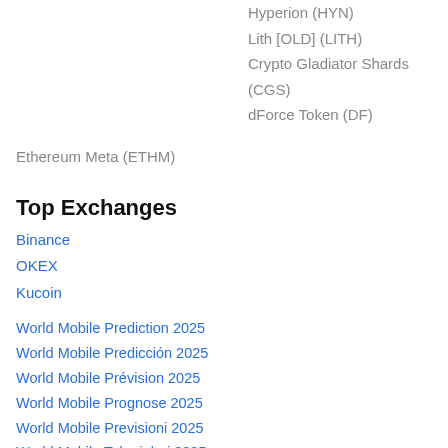Hyperion (HYN)
Lith [OLD] (LITH)
Crypto Gladiator Shards (CGS)
dForce Token (DF)
Ethereum Meta (ETHM)
Top Exchanges
Binance
OKEX
Kucoin
World Mobile Prediction 2025
World Mobile Predicción 2025
World Mobile Prévision 2025
World Mobile Prognose 2025
World Mobile Previsioni 2025
World Mobile Tahminleri 2025